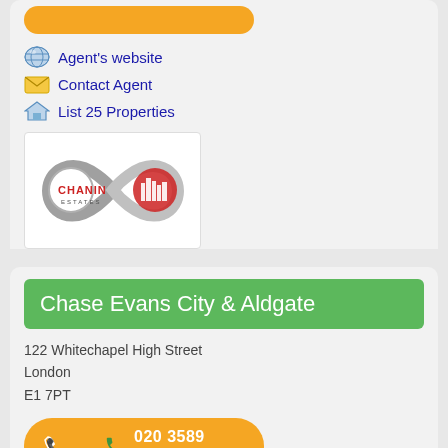[Figure (other): Orange rounded button (partial top)]
Agent's website
Contact Agent
List 25 Properties
[Figure (logo): Chanin Estates logo with infinity symbol]
Chase Evans City & Aldgate
122 Whitechapel High Street
London
E1 7PT
020 3589 1413
Agent's website
Contact Agent
List 118 Properties
[Figure (logo): Chase logo text (partial, bottom right)]